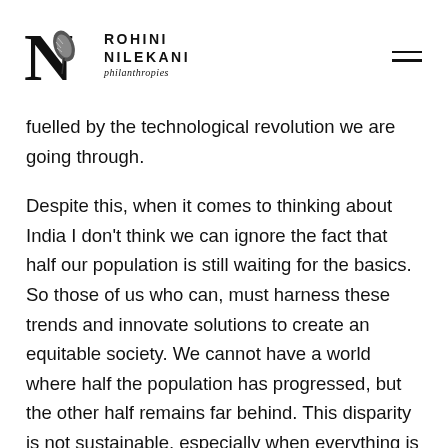ROHINI NILEKANI philanthropies
fuelled by the technological revolution we are going through.
Despite this, when it comes to thinking about India I don't think we can ignore the fact that half our population is still waiting for the basics. So those of us who can, must harness these trends and innovate solutions to create an equitable society. We cannot have a world where half the population has progressed, but the other half remains far behind. This disparity is not sustainable, especially when everything is so interconnected. I see it as an